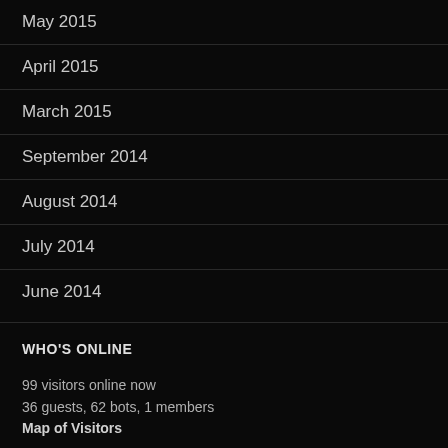May 2015
April 2015
March 2015
September 2014
August 2014
July 2014
June 2014
WHO'S ONLINE
99 visitors online now
36 guests, 62 bots, 1 members
Map of Visitors